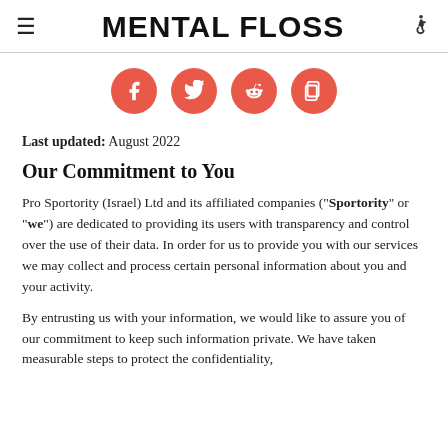MENTAL FLOSS
[Figure (infographic): Four salmon/coral colored circular social media share buttons: Facebook (f), Twitter (bird), Reddit (alien), and a copy/share icon]
Last updated: August 2022
Our Commitment to You
Pro Sportority (Israel) Ltd and its affiliated companies ("Sportority" or "we") are dedicated to providing its users with transparency and control over the use of their data. In order for us to provide you with our services we may collect and process certain personal information about you and your activity.
By entrusting us with your information, we would like to assure you of our commitment to keep such information private. We have taken measurable steps to protect the confidentiality,